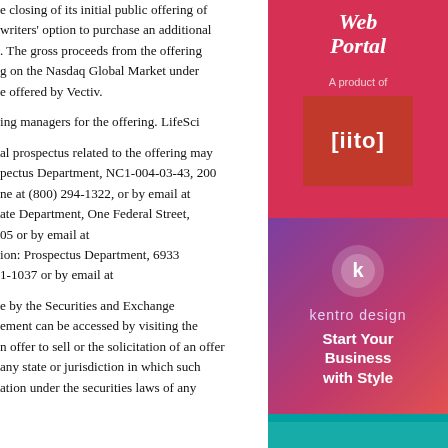e closing of its initial public offering of writers' option to purchase an additional . The gross proceeds from the offering g on the Nasdaq Global Market under e offered by Vectiv.
ing managers for the offering. LifeSci
al prospectus related to the offering may pectus Department, NC1-004-03-43, 200 ne at (800) 294-1322, or by email at ate Department, One Federal Street, 05 or by email at ion: Prospectus Department, 6933 1-1037 or by email at
e by the Securities and Exchange ement can be accessed by visiting the n offer to sell or the solicitation of an offer any state or jurisdiction in which such ation under the securities laws of any
[Figure (illustration): Red advertisement banner for 'Web Portal', a product of [iito]]
[Figure (illustration): Purple-pink advertisement for Kentro Design: 'Start Your Business with Style' with logo]
[Figure (photo): Teal/blue advertisement image, partially visible at bottom]